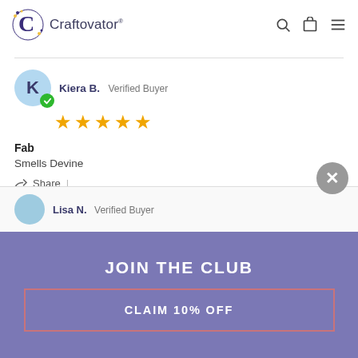Craftovator®
Kiera B. Verified Buyer
[Figure (illustration): 5 gold stars rating]
Fab
Smells Devine
Share |
09/03/22  👍 0  👎 0
Lisa N. Verified Buyer
JOIN THE CLUB
CLAIM 10% OFF